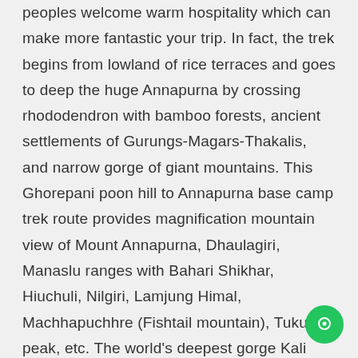peoples welcome warm hospitality which can make more fantastic your trip. In fact, the trek begins from lowland of rice terraces and goes to deep the huge Annapurna by crossing rhododendron with bamboo forests, ancient settlements of Gurungs-Magars-Thakalis, and narrow gorge of giant mountains. This Ghorepani poon hill to Annapurna base camp trek route provides magnification mountain view of Mount Annapurna, Dhaulagiri, Manaslu ranges with Bahari Shikhar, Hiuchuli, Nilgiri, Lamjung Himal, Machhapuchhre (Fishtail mountain), Tukuche peak, etc. The world's deepest gorge Kali Gandaki and Modi Khola follow the 12 days Annapurna base camp trek route, this 12 Day ABC Trek is surrounded by immense glittering Himalayan ranges and awesome natural landscapes.